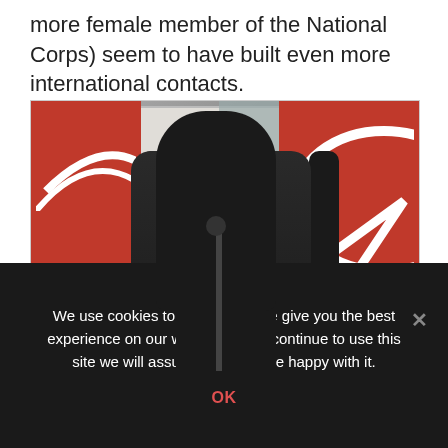more female member of the National Corps) seem to have built even more international contacts.
[Figure (photo): A young woman with long dark hair speaking at a microphone/podium, dressed in dark clothing. Behind her are red banners with a white logo/emblem, and a projection screen. The setting appears to be an outdoor or semi-outdoor event.]
We use cookies to ensure that we give you the best experience on our website. If you continue to use this site we will assume that you are happy with it.
OK